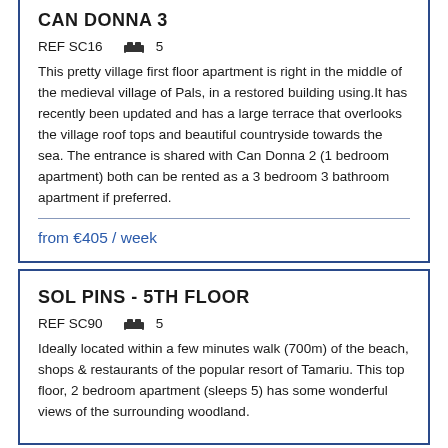CAN DONNA 3
REF SC16  🛏 5
This pretty village first floor apartment is right in the middle of the medieval village of Pals, in a restored building using.It has recently been updated and has a large terrace that overlooks the village roof tops and beautiful countryside towards the sea. The entrance is shared with Can Donna 2 (1 bedroom apartment) both can be rented as a 3 bedroom 3 bathroom apartment if preferred.
from €405 / week
SOL PINS - 5TH FLOOR
REF SC90  🛏 5
Ideally located within a few minutes walk (700m) of the beach, shops & restaurants of the popular resort of Tamariu. This top floor, 2 bedroom apartment (sleeps 5) has some wonderful views of the surrounding woodland.